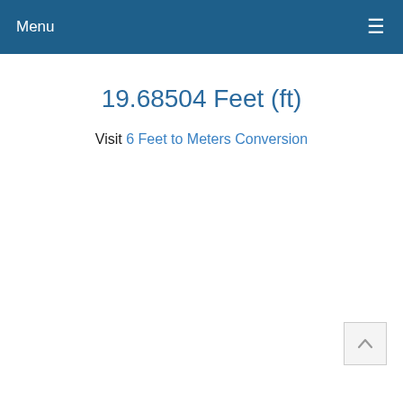Menu ≡
19.68504 Feet (ft)
Visit 6 Feet to Meters Conversion